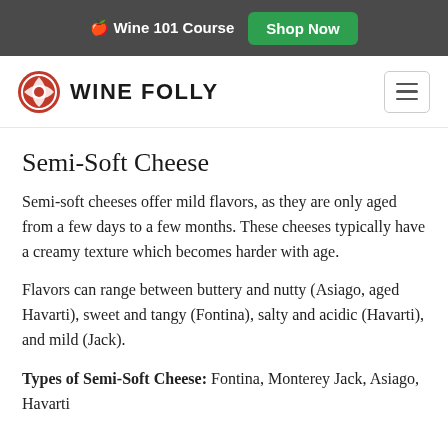🍷 Wine 101 Course  Shop Now
[Figure (logo): Wine Folly logo with red circular icon and text WINE FOLLY, with hamburger menu button on the right]
Semi-Soft Cheese
Semi-soft cheeses offer mild flavors, as they are only aged from a few days to a few months. These cheeses typically have a creamy texture which becomes harder with age.
Flavors can range between buttery and nutty (Asiago, aged Havarti), sweet and tangy (Fontina), salty and acidic (Havarti), and mild (Jack).
Types of Semi-Soft Cheese: Fontina, Monterey Jack, Asiago, Havarti